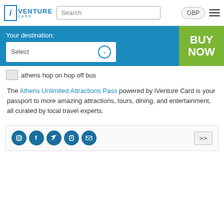[Figure (logo): iVenture Card logo with blue 'i' in box and stylized text]
Search
GBP
Your destination:
Select
BUY NOW
[Figure (photo): athens hop on hop off bus image placeholder]
The Athens Unlimited Attractions Pass powered by iVenture Card is your passport to more amazing attractions, tours, dining, and entertainment, all curated by local travel experts.
[Figure (infographic): Social media icons: Instagram, Facebook, Twitter, Blogger, Email and >> button]